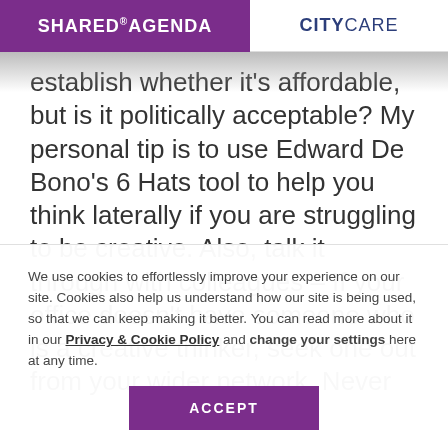SHARED AGENDA | CITYCARE
establish whether it's affordable, but is it politically acceptable? My personal tip is to use Edward De Bono's 6 Hats tool to help you think laterally if you are struggling to be creative. Also, talk it through with colleagues – If your office doesn't have someone who is a creative thinker, seek one out from your wider network. Never
We use cookies to effortlessly improve your experience on our site. Cookies also help us understand how our site is being used, so that we can keep making it better. You can read more about it in our Privacy & Cookie Policy and change your settings here at any time.
ACCEPT